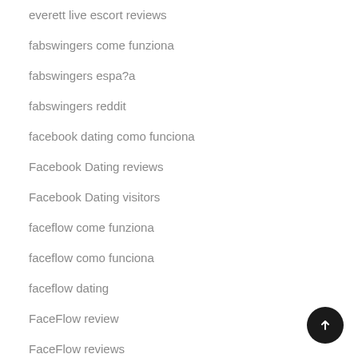everett live escort reviews
fabswingers come funziona
fabswingers espa?a
fabswingers reddit
facebook dating como funciona
Facebook Dating reviews
Facebook Dating visitors
faceflow come funziona
faceflow como funciona
faceflow dating
FaceFlow review
FaceFlow reviews
FaceFlow visitors
fairfield escort near me